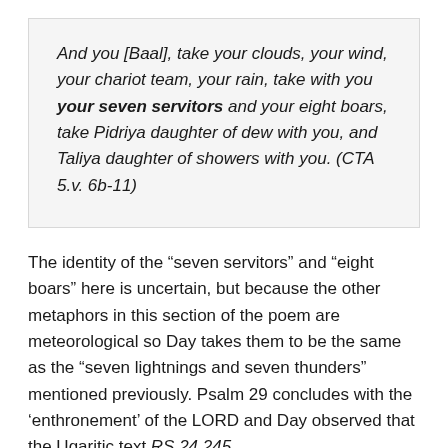And you [Baal], take your clouds, your wind, your chariot team, your rain, take with you your seven servitors and your eight boars, take Pidriya daughter of dew with you, and Taliya daughter of showers with you. (CTA 5.v. 6b-11)
The identity of the “seven servitors” and “eight boars” here is uncertain, but because the other metaphors in this section of the poem are meteorological so Day takes them to be the same as the “seven lightnings and seven thunders” mentioned previously. Psalm 29 concludes with the ‘enthronement’ of the LORD and Day observed that the Ugaritic text RS 24.245